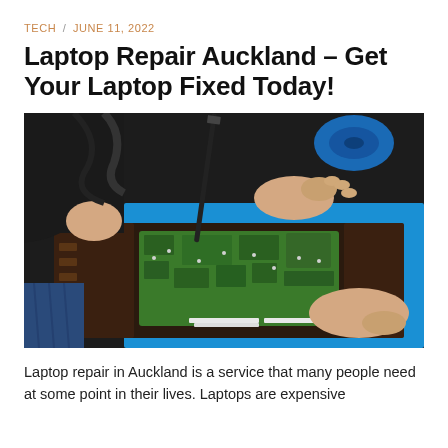TECH / JUNE 11, 2022
Laptop Repair Auckland – Get Your Laptop Fixed Today!
[Figure (photo): A technician repairing an open laptop motherboard, using a screwdriver tool, with blue plastic laptop shell visible and cables in the background.]
Laptop repair in Auckland is a service that many people need at some point in their lives. Laptops are expensive